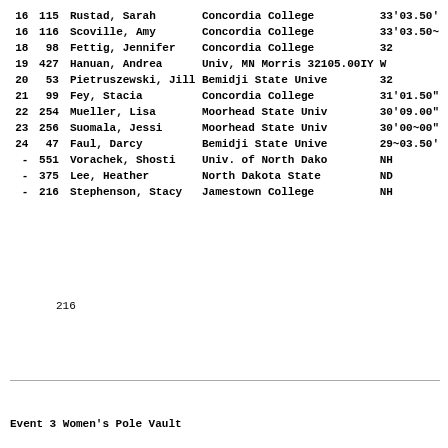| Rank | Num | Name | School | Mark |
| --- | --- | --- | --- | --- |
| 16 | 115 | Rustad, Sarah | Concordia College | 33'03.50' |
| 16 | 116 | Scoville, Amy | Concordia College | 33'03.50~ |
| 18 | 98 | Fettig, Jennifer | Concordia College | 32 |
| 19 | 427 | Hanuan, Andrea | Univ, MN Morris 32105.00IY | W |
| 20 | 53 | Pietruszewski, Jill | Bemidji State Unive | 32 |
| 21 | 99 | Fey, Stacia | Concordia College | 31'01.50" |
| 22 | 254 | Mueller, Lisa | Moorhead State Univ | 30'09.00" |
| 23 | 256 | Suomala, Jessi | Moorhead State Univ | 30'00~00" |
| 24 | 47 | Faul, Darcy | Bemidji State Unive | 29~03.50' |
| - | 551 | Vorachek, Shosti | Univ. of North Dako | NH |
| - | 375 | Lee, Heather | North Dakota State | ND |
| - | 216 | Stephenson, Stacy | Jamestown College | NH |
216
Event 3 Women's Pole Vault